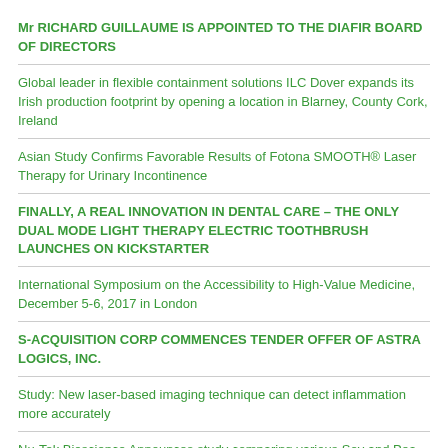Mr RICHARD GUILLAUME IS APPOINTED TO THE DIAFIR BOARD OF DIRECTORS
Global leader in flexible containment solutions ILC Dover expands its Irish production footprint by opening a location in Blarney, County Cork, Ireland
Asian Study Confirms Favorable Results of Fotona SMOOTH® Laser Therapy for Urinary Incontinence
FINALLY, A REAL INNOVATION IN DENTAL CARE – THE ONLY DUAL MODE LIGHT THERAPY ELECTRIC TOOTHBRUSH LAUNCHES ON KICKSTARTER
International Symposium on the Accessibility to High-Value Medicine, December 5-6, 2017 in London
S-ACQUISITION CORP COMMENCES TENDER OFFER OF ASTRA LOGICS, INC.
Study: New laser-based imaging technique can detect inflammation more accurately
Nu-Tek Bioscience Announces study comparing various Soy and Pea